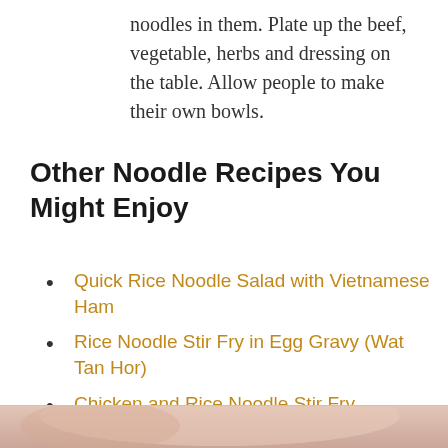noodles in them. Plate up the beef, vegetable, herbs and dressing on the table. Allow people to make their own bowls.
Other Noodle Recipes You Might Enjoy
Quick Rice Noodle Salad with Vietnamese Ham
Rice Noodle Stir Fry in Egg Gravy (Wat Tan Hor)
Chicken and Rice Noodle Stir Fry
Easy Chicken and Hokkien Noodle Stir Fry
[Figure (photo): Partial view of a food photo at the bottom of the page]